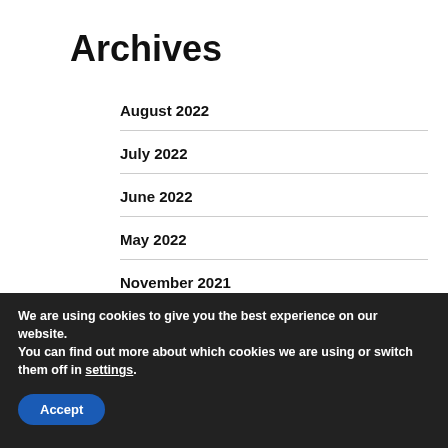Archives
August 2022
July 2022
June 2022
May 2022
November 2021
We are using cookies to give you the best experience on our website.
You can find out more about which cookies we are using or switch them off in settings.
Accept